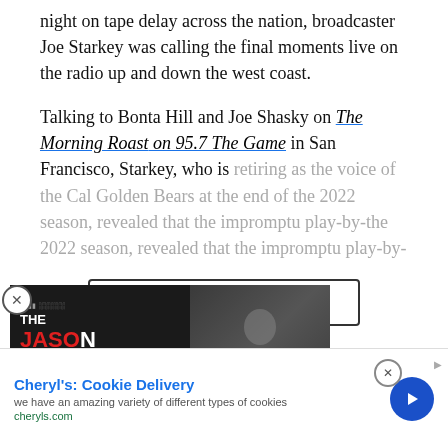night on tape delay across the nation, broadcaster Joe Starkey was calling the final moments live on the radio up and down the west coast.
Talking to Bonta Hill and Joe Shasky on The Morning Roast on 95.7 The Game in San Francisco, Starkey, who is retiring as the voice of the Cal Golden Bears at the end of the 2022 season, revealed that the impromptu play-by-
CONTINUE READING
[Figure (screenshot): Promotional card for The Jason Barrett Podcast featuring a man's photo and text 'JIM ROME GOT NEW PLAYBO...' on the right side]
er Browns Radio
Cheryl's: Cookie Delivery
we have an amazing variety of different types of cookies
cheryls.com